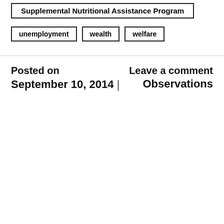Supplemental Nutritional Assistance Program
unemployment
wealth
welfare
Posted on September 10, 2014 | Leave a comment Observations
Privacy & Cookies: This site uses cookies. By continuing to use this website, you agree to their use.
To find out more, including how to control cookies, see here: Cookie Policy
Close and accept